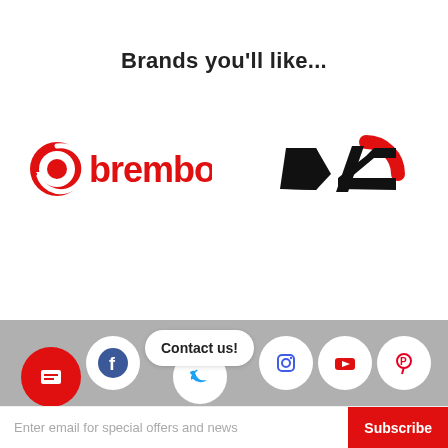Brands you'll like...
[Figure (logo): Brembo brand logo in red and black]
[Figure (logo): D2 brand logo in black and red]
[Figure (infographic): Footer with social media icons (Facebook, Twitter, Instagram, YouTube, Pinterest), a red circular icon, and a Contact us! speech bubble]
Enter email for special offers and news
Subscribe